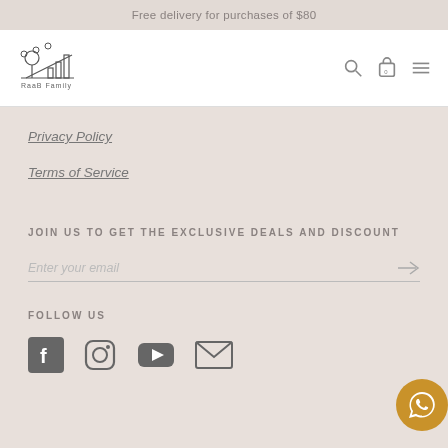Free delivery for purchases of $80
[Figure (logo): RaaB Family logo with tree and bar chart icons]
Privacy Policy
Terms of Service
JOIN US TO GET THE EXCLUSIVE DEALS AND DISCOUNT
Enter your email
FOLLOW US
[Figure (infographic): Social media icons: Facebook, Instagram, YouTube, Email]